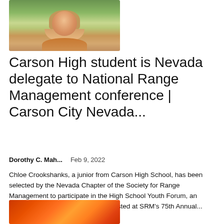[Figure (photo): Photo of a smiling young woman with long wavy hair outdoors, with greenery and hills in the background]
Carson High student is Nevada delegate to National Range Management conference | Carson City Nevada...
Dorothy C. Mah...    Feb 9, 2022
Chloe Crookshanks, a junior from Carson High School, has been selected by the Nevada Chapter of the Society for Range Management to participate in the High School Youth Forum, an SRM-sponsored youth activity co-hosted at SRM's 75th Annual...
[Figure (photo): Partial photo showing flames or fire, orange and red tones]